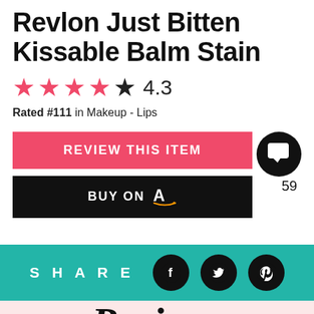Revlon Just Bitten Kissable Balm Stain
★★★★★ 4.3
Rated #111 in Makeup - Lips
[Figure (infographic): Comment bubble icon with count 59, Review This Item button (pink), Buy On Amazon button (black)]
SHARE
[Figure (infographic): Social share bar with Facebook, Twitter, Pinterest icons on teal background]
Reviews